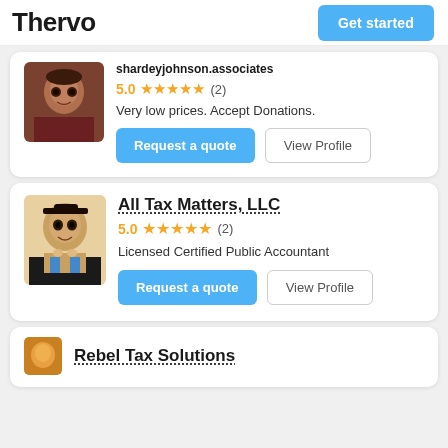Thervo | Get started
5.0 ★★★★★ (2)
Very low prices. Accept Donations.
Request a quote | View Profile
All Tax Matters, LLC
5.0 ★★★★★ (2)
Licensed Certified Public Accountant
Request a quote | View Profile
Rebel Tax Solutions